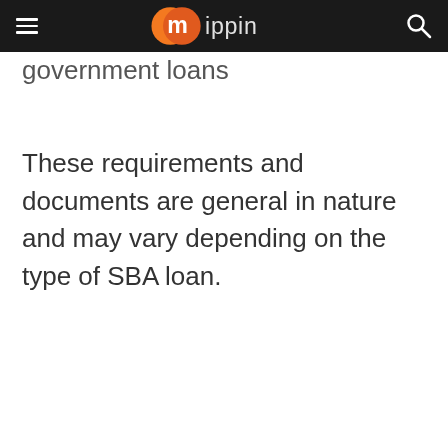mippin
government loans
These requirements and documents are general in nature and may vary depending on the type of SBA loan.